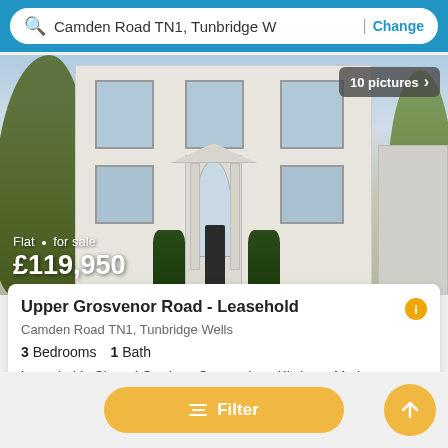Camden Road TN1, Tunbridge W | Change
[Figure (photo): White Georgian-style house facade with sash windows, columns, and arched doorway, flanked by trees]
Flat · for sale
£119,950
10 pictures
Upper Grosvenor Road - Leasehold
Camden Road TN1, Tunbridge Wells
3 Bedrooms   1 Bath
Leasehold · Shared Garden · Conversion · Kitchen · Modern
First seen 2 weeks ago on Property.xyz
View details
Filter